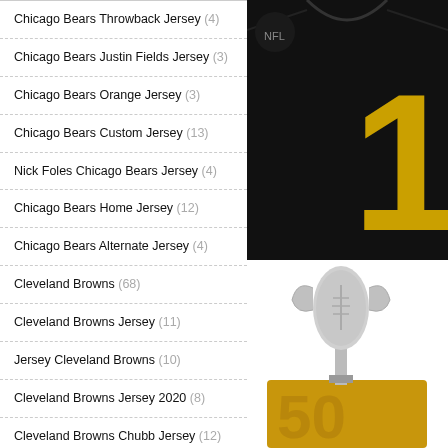Chicago Bears Throwback Jersey (4)
Chicago Bears Justin Fields Jersey (3)
Chicago Bears Orange Jersey (3)
Chicago Bears Custom Jersey (13)
Nick Foles Chicago Bears Jersey (4)
Chicago Bears Home Jersey (12)
Chicago Bears Alternate Jersey (4)
Cleveland Browns (68)
Cleveland Browns Jersey (11)
Jersey Cleveland Browns (10)
Cleveland Browns Jersey 2020 (8)
Cleveland Browns Chubb Jersey (12)
Cleveland Browns Custom Jersey (12)
Cleveland Browns Throwback Jersey
[Figure (photo): Black NFL jersey with gold number, partially visible, displayed against white background]
[Figure (photo): NFL Super Bowl trophy (Lombardi Trophy) with gold base, partially visible at bottom right]